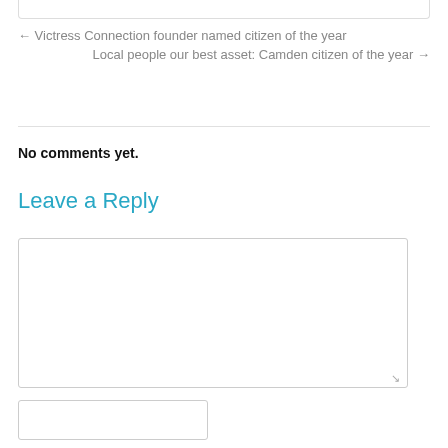← Victress Connection founder named citizen of the year
Local people our best asset: Camden citizen of the year →
No comments yet.
Leave a Reply